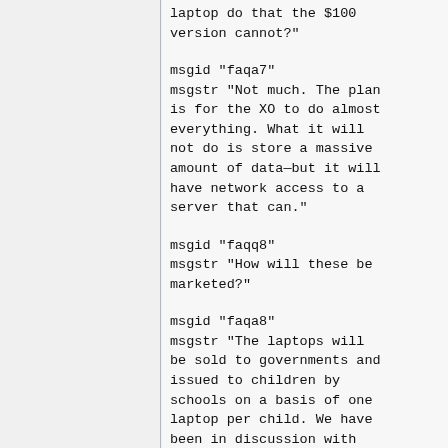laptop do that the $100 version cannot?"
msgid "faqa7"
msgstr "Not much. The plan is for the XO to do almost everything. What it will not do is store a massive amount of data—but it will have network access to a server that can."
msgid "faqq8"
msgstr "How will these be marketed?"
msgid "faqa8"
msgstr "The laptops will be sold to governments and issued to children by schools on a basis of one laptop per child. We have been in discussion with Argentina, Brazil, Uruguay, Central America